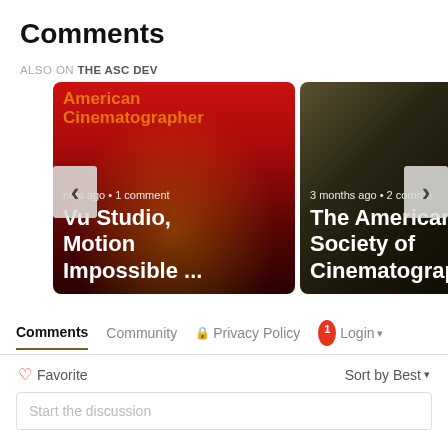Comments
ALSO ON THE ASC DEV
[Figure (screenshot): Carousel with two article cards. Left card shows a red-lit tunnel background with text 'nths ago • 1 comment' and title 'Vu Studio, Motion Impossible ...' overlaid, along with 'American Cinematographer' magazine header. Right card shows a dark studio background with '3 months ago • 2 comme' and title 'The American Society of Cinematographer'. Navigation arrows (‹ and ›) are visible on left and right sides.]
Comments	Community	🔒 Privacy Policy	1 Login ▾
♡ Favorite	Sort by Best ▾
Start the discussion